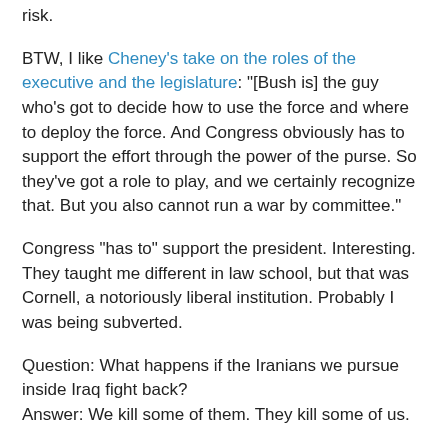risk.
BTW, I like Cheney's take on the roles of the executive and the legislature: "[Bush is] the guy who's got to decide how to use the force and where to deploy the force. And Congress obviously has to support the effort through the power of the purse. So they've got a role to play, and we certainly recognize that. But you also cannot run a war by committee."
Congress "has to" support the president. Interesting. They taught me different in law school, but that was Cornell, a notoriously liberal institution. Probably I was being subverted.
Question: What happens if the Iranians we pursue inside Iraq fight back?
Answer: We kill some of them. They kill some of us.
Question: What if, after engaging our troops in Iraq, Iranians flee back into Iran?
Answer: We pursue them and kill them there, perhaps with others. They kill or capture some of us.